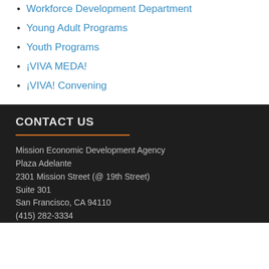Workforce Development Department
Young Adult Programs
Youth Programs
¡VIVA MEDA!
¡VIVA! Convening
CONTACT US
Mission Economic Development Agency
Plaza Adelante
2301 Mission Street (@ 19th Street)
Suite 301
San Francisco, CA 94110
(415) 282-3334